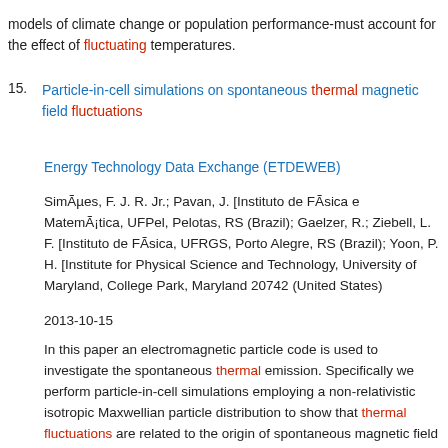models of climate change or population performance-must account for the effect of fluctuating temperatures.
15. Particle-in-cell simulations on spontaneous thermal magnetic field fluctuations
Energy Technology Data Exchange (ETDEWEB)
SimÃµes, F. J. R. Jr.; Pavan, J. [Instituto de FÃ­sica e MatemÃ¡tica, UFPel, Pelotas, RS (Brazil); Gaelzer, R.; Ziebell, L. F. [Instituto de FÃ­sica, UFRGS, Porto Alegre, RS (Brazil); Yoon, P. H. [Institute for Physical Science and Technology, University of Maryland, College Park, Maryland 20742 (United States)
2013-10-15
In this paper an electromagnetic particle code is used to investigate the spontaneous thermal emission. Specifically we perform particle-in-cell simulations employing a non-relativistic isotropic Maxwellian particle distribution to show that thermal fluctuations are related to the origin of spontaneous magnetic field fluctuation. These thermal fluctuations can become seed for further amplification mechanisms and thus be considered at